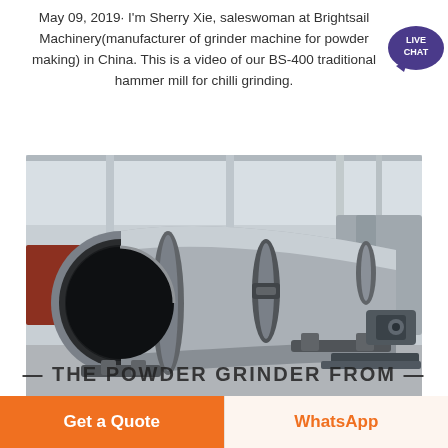May 09, 2019· I'm Sherry Xie, saleswoman at Brightsail Machinery(manufacturer of grinder machine for powder making) in China. This is a video of our BS-400 traditional hammer mill for chilli grinding.
[Figure (photo): Large industrial rotary drum or cylindrical grinding mill machine, light grey in color, photographed in a factory/warehouse setting. The machine has a large circular opening on the left end, tapers toward the right, with support brackets and a motor visible at the far right.]
THE POWDER GRINDER FROM...
Get a Quote
WhatsApp